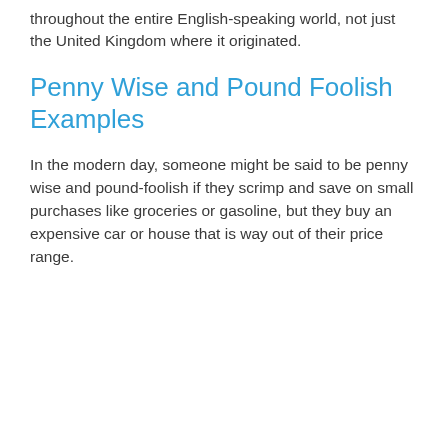throughout the entire English-speaking world, not just the United Kingdom where it originated.
Penny Wise and Pound Foolish Examples
In the modern day, someone might be said to be penny wise and pound-foolish if they scrimp and save on small purchases like groceries or gasoline, but they buy an expensive car or house that is way out of their price range.